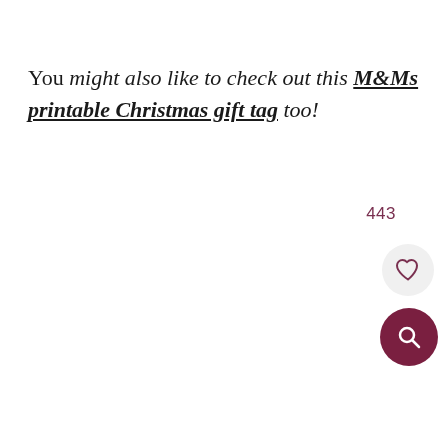You might also like to check out this M&Ms printable Christmas gift tag too!
[Figure (other): Like/favorite counter showing 443, a heart icon button on a light grey circle, and a search icon button on a dark maroon circle]